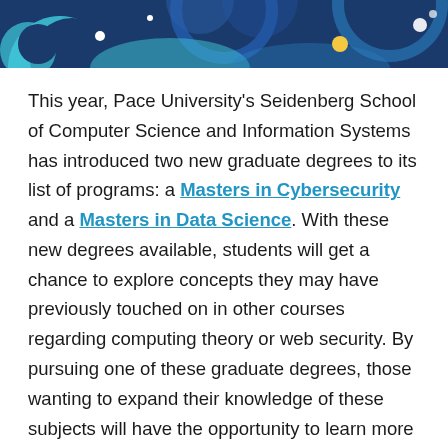[Figure (illustration): Decorative header banner with dark blue background, teal/cyan circular shapes, white dots, and yellow dot — abstract wave or bubble design.]
This year, Pace University's Seidenberg School of Computer Science and Information Systems has introduced two new graduate degrees to its list of programs: a Masters in Cybersecurity and a Masters in Data Science. With these new degrees available, students will get a chance to explore concepts they may have previously touched on in other courses regarding computing theory or web security. By pursuing one of these graduate degrees, those wanting to expand their knowledge of these subjects will have the opportunity to learn more about their favorite topics, while also increasing their chances of making a livelihood from them.